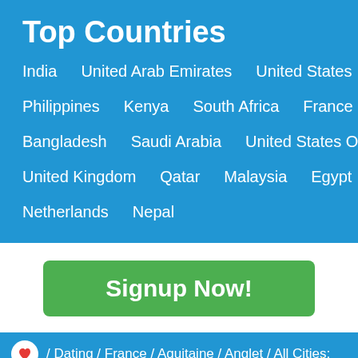Top Countries
India   United Arab Emirates   United States
Philippines   Kenya   South Africa   France
Bangladesh   Saudi Arabia   United States Of America
United Kingdom   Qatar   Malaysia   Egypt
Netherlands   Nepal
Signup Now!
/ Dating / France / Aquitaine / Anglet / All Cities;